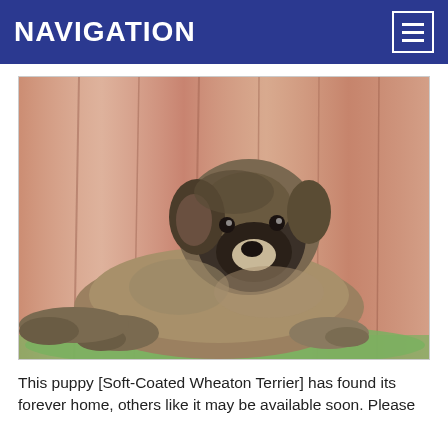NAVIGATION
[Figure (photo): A fluffy Soft-Coated Wheaton Terrier puppy lying down, facing the camera, with a brown and black coat. The puppy is photographed against a colorful draped fabric background.]
This puppy [Soft-Coated Wheaton Terrier] has found its forever home, others like it may be available soon. Please